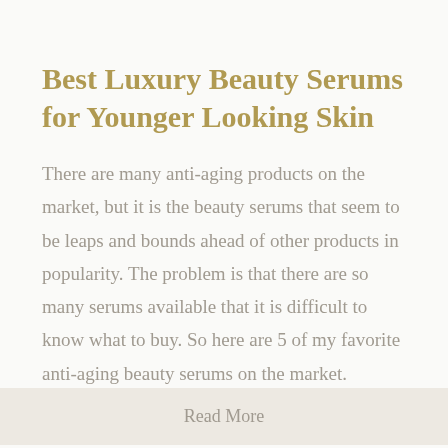Best Luxury Beauty Serums for Younger Looking Skin
There are many anti-aging products on the market, but it is the beauty serums that seem to be leaps and bounds ahead of other products in popularity. The problem is that there are so many serums available that it is difficult to know what to buy. So here are 5 of my favorite anti-aging beauty serums on the market.
Read More